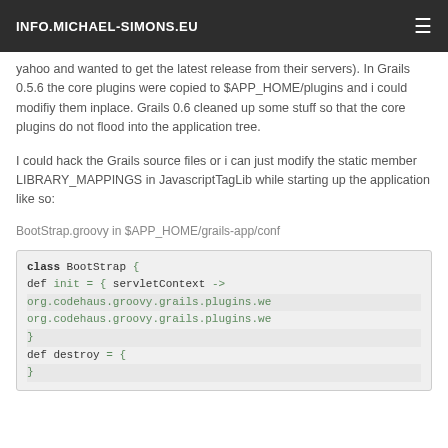INFO.MICHAEL-SIMONS.EU
yahoo and wanted to get the latest release from their servers). In Grails 0.5.6 the core plugins were copied to $APP_HOME/plugins and i could modifiy them inplace. Grails 0.6 cleaned up some stuff so that the core plugins do not flood into the application tree.
I could hack the Grails source files or i can just modify the static member LIBRARY_MAPPINGS in JavascriptTagLib while starting up the application like so:
BootStrap.groovy in $APP_HOME/grails-app/conf
[Figure (screenshot): Code block showing Groovy/Grails BootStrap class with init and destroy methods, referencing org.codehaus.groovy.grails.plugins.we...]